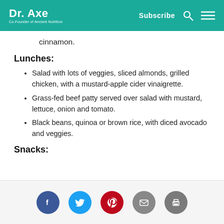Dr. Axe — Co-Founder of Ancient Nutrition | Subscribe
cinnamon.
Lunches:
Salad with lots of veggies, sliced almonds, grilled chicken, with a mustard-apple cider vinaigrette.
Grass-fed beef patty served over salad with mustard, lettuce, onion and tomato.
Black beans, quinoa or brown rice, with diced avocado and veggies.
Snacks:
Social share buttons: Facebook, Twitter, Pinterest, Email, Print